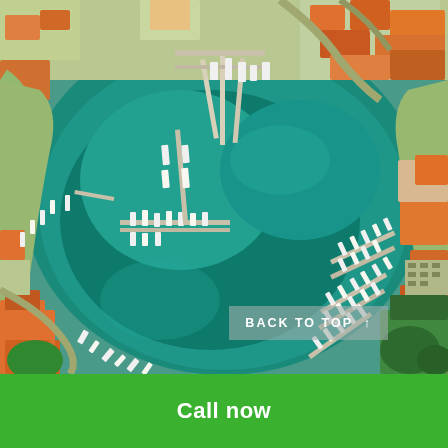[Figure (photo): Aerial drone view of a Mediterranean marina with boats moored at docks on teal/turquoise water, surrounded by coastal town buildings with orange/red rooftops and roads]
BACK TO TOP ↑
Call now